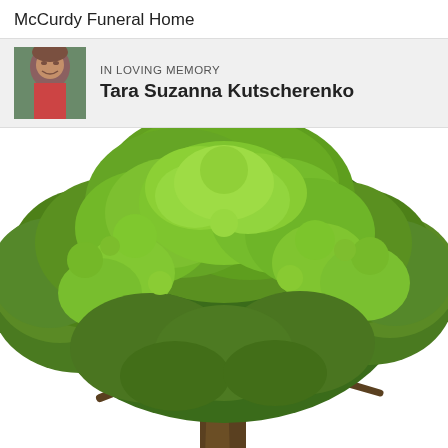McCurdy Funeral Home
IN LOVING MEMORY
Tara Suzanna Kutscherenko
[Figure (illustration): Large green deciduous tree with full leafy canopy on white background, showing trunk and branches below the dense green foliage]